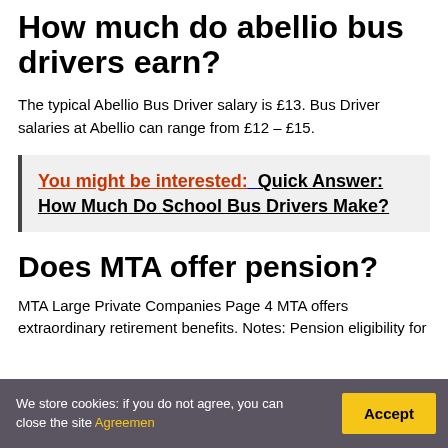How much do abellio bus drivers earn?
The typical Abellio Bus Driver salary is £13. Bus Driver salaries at Abellio can range from £12 – £15.
You might be interested:  Quick Answer: How Much Do School Bus Drivers Make?
Does MTA offer pension?
MTA Large Private Companies Page 4 MTA offers extraordinary retirement benefits. Notes: Pension eligibility for
We store cookies: if you do not agree, you can close the site Agreemen